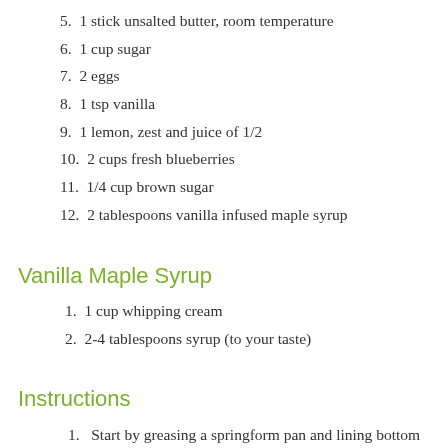5. 1 stick unsalted butter, room temperature
6. 1 cup sugar
7. 2 eggs
8. 1 tsp vanilla
9. 1 lemon, zest and juice of 1/2
10. 2 cups fresh blueberries
11. 1/4 cup brown sugar
12. 2 tablespoons vanilla infused maple syrup
Vanilla Maple Syrup
1. 1 cup whipping cream
2. 2-4 tablespoons syrup (to your taste)
Instructions
1. Start by greasing a springform pan and lining bottom with parchment paper, set aside.
2. Preheat oven to 350 degrees.